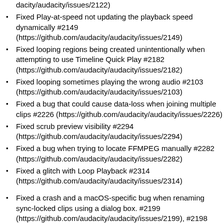dacity/audacity/issues/2122)
Fixed Play-at-speed not updating the playback speed dynamically #2149 (https://github.com/audacity/audacity/issues/2149)
Fixed looping regions being created unintentionally when attempting to use Timeline Quick Play #2182 (https://github.com/audacity/audacity/issues/2182)
Fixed looping sometimes playing the wrong audio #2103 (https://github.com/audacity/audacity/issues/2103)
Fixed a bug that could cause data-loss when joining multiple clips #2226 (https://github.com/audacity/audacity/issues/2226)
Fixed scrub preview visibility #2294 (https://github.com/audacity/audacity/issues/2294)
Fixed a bug when trying to locate FFMPEG manually #2282 (https://github.com/audacity/audacity/issues/2282)
Fixed a glitch with Loop Playback #2314 (https://github.com/audacity/audacity/issues/2314)
Fixed a crash and a macOS-specific bug when renaming sync-locked clips using a dialog box. #2199 (https://github.com/audacity/audacity/issues/2199), #2198 (https://github.com/audacity/audacity/issues/2198)
Fixed a crash when releasing a clip handle #2147 (https://github.com/audacity/audacity/issues/2147)
Fixed a freeze when closing Audacity with the logging window open #2144 (https://github.com/audacity/audacity/issues/2144)